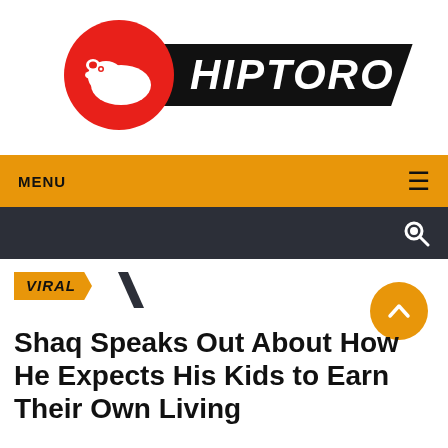[Figure (logo): Hiptoro logo: red circle with white hippo silhouette, black diagonal banner with italic white text HIPTORO]
MENU ≡
search icon
VIRAL
Shaq Speaks Out About How He Expects His Kids to Earn Their Own Living